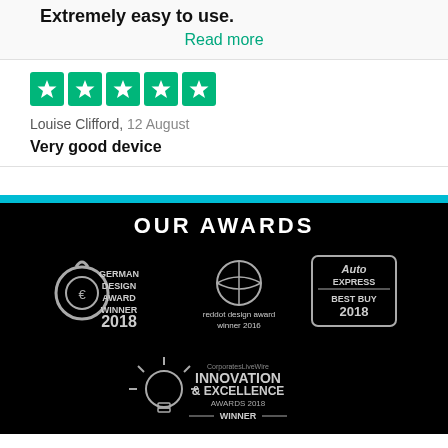Extremely easy to use.
Read more
[Figure (other): Five green Trustpilot star rating boxes]
Louise Clifford, 12 August
Very good device
OUR AWARDS
[Figure (other): German Design Award Winner 2018 logo]
[Figure (other): reddot design award winner 2016 logo]
[Figure (other): Auto Express Best Buy 2018 logo]
[Figure (other): CorporatesLiveWire Innovation & Excellence Awards 2018 Winner logo]